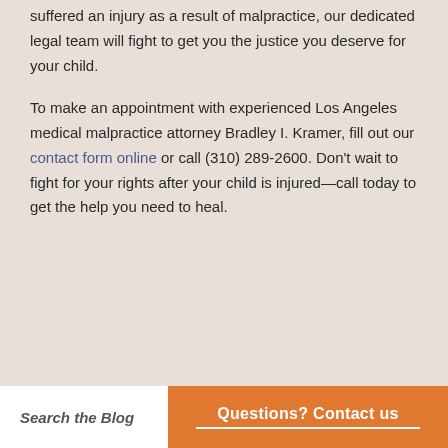suffered an injury as a result of malpractice, our dedicated legal team will fight to get you the justice you deserve for your child.
To make an appointment with experienced Los Angeles medical malpractice attorney Bradley I. Kramer, fill out our contact form online or call (310) 289-2600. Don't wait to fight for your rights after your child is injured—call today to get the help you need to heal.
Search the Blog